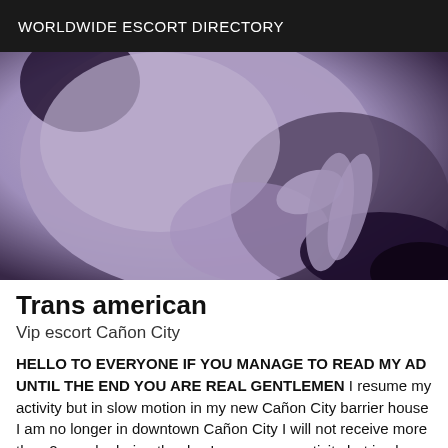WORLDWIDE ESCORT DIRECTORY
[Figure (photo): Black and white / purple-tinted close-up photograph of two people]
Trans american
Vip escort Cañon City
HELLO TO EVERYONE IF YOU MANAGE TO READ MY AD UNTIL THE END YOU ARE REAL GENTLEMEN I resume my activity but in slow motion in my new Cañon City barrier house I am no longer in downtown Cañon City I will not receive more than 2 people during the day I resume my activity but in slow motion in my new Cañon